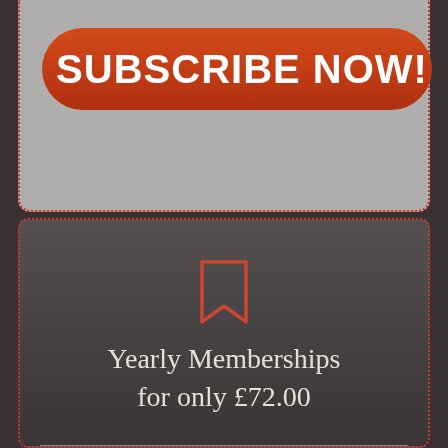SUBSCRIBE NOW!
[Figure (illustration): Bookmark icon outline in red/coral color]
Yearly Memberships for only £72.00
Join Simon Oliver for training in the comfort of your own home or training venue with a yearly subscription of only £72.00 for full access.